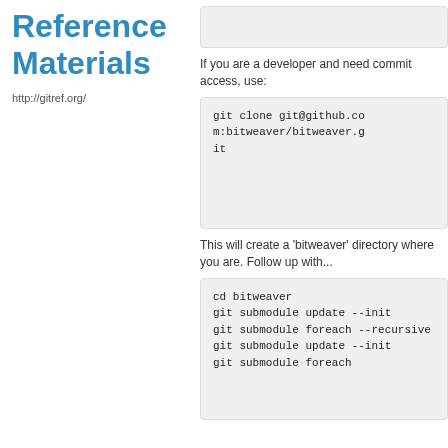Reference Materials
http://gitref.org/
If you are a developer and need commit access, use:
git clone git@github.com:bitweaver/bitweaver.git
This will create a 'bitweaver' directory where you are. Follow up with...
cd bitweaver
git submodule update --init
git submodule foreach --recursive git submodule update --init
git submodule foreach